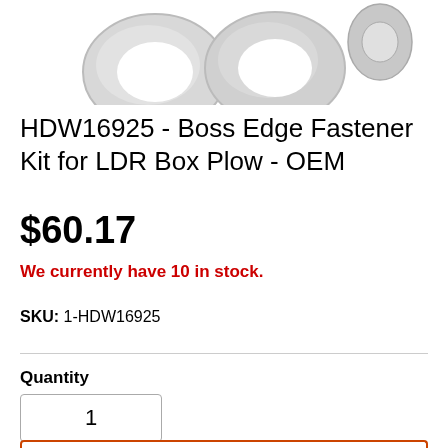[Figure (photo): Product photo showing metal washers and fastener hardware components on white background, partially cropped at top of page]
HDW16925 - Boss Edge Fastener Kit for LDR Box Plow - OEM
$60.17
We currently have 10 in stock.
SKU: 1-HDW16925
Quantity
1